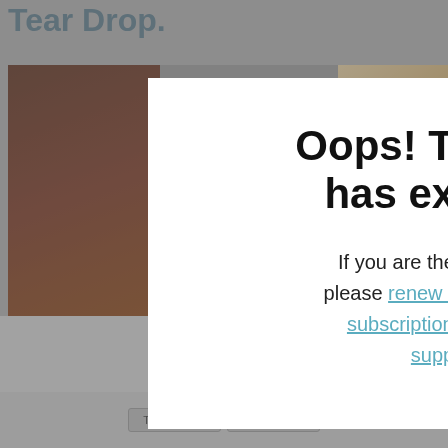Tear Drop.
[Figure (photo): Screenshot of a website showing a chocolate candy photo, overlaid with an expired site modal dialog. Background shows hands holding chocolate candy pieces. Footer shows 'webs' branding.]
Oops! This site has expired.
If you are the site owner, please renew your premium subscription or contact support.
Begi... one side to c...
webs